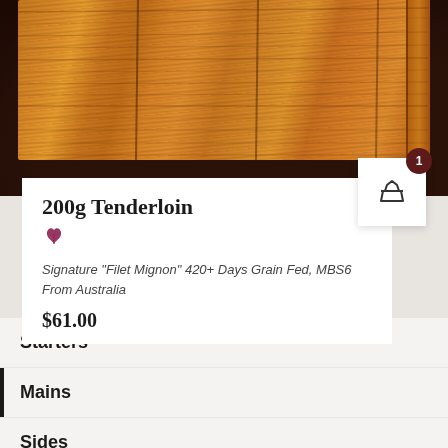[Figure (photo): A wooden cutting board on a dark leather background, photographed from above at an angle. The board shows warm golden-brown wood grain.]
200g Tenderloin
Signature “Filet Mignon” 420+ Days Grain Fed, MBS6 From Australia
$61.00
Starters
Mains
Sides
Desserts